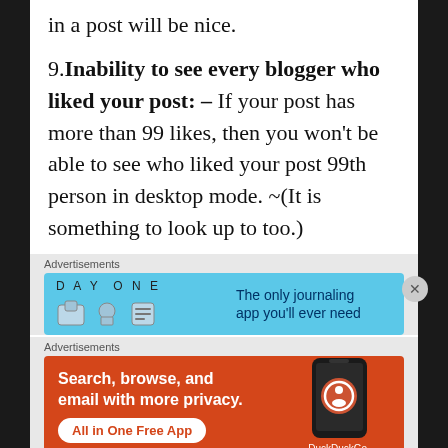in a post will be nice.
9. Inability to see every blogger who liked your post: – If your post has more than 99 likes, then you won't be able to see who liked your post 99th person in desktop mode. ~(It is something to look up to too.)
[Figure (screenshot): DayOne app advertisement banner - blue background with DAY ONE text, icons, and 'The only journaling app you'll ever need' text]
[Figure (screenshot): DuckDuckGo advertisement - orange/red background with text 'Search, browse, and email with more privacy. All in One Free App' and DuckDuckGo logo with phone graphic]